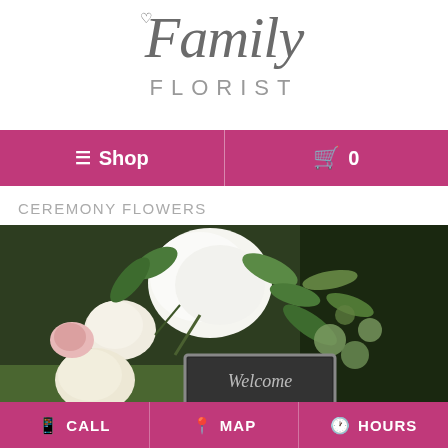[Figure (logo): Family Florist cursive logo with heart, gray text on white background]
≡ Shop   🛒 0
CEREMONY FLOWERS
[Figure (photo): Wedding ceremony flowers arrangement with white hydrangeas, cream roses, and greenery around a chalkboard welcome sign outdoors]
CALL  MAP  HOURS